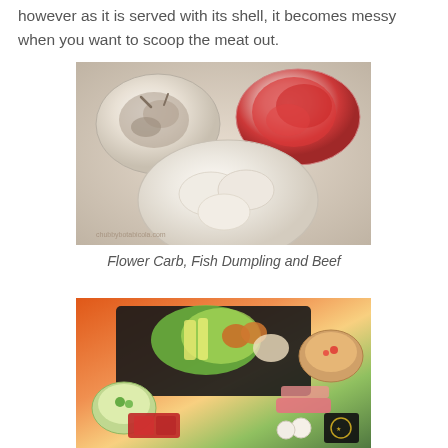however as it is served with its shell, it becomes messy when you want to scoop the meat out.
[Figure (photo): Three white bowls/dishes on a table: top-left contains flower crab pieces, top-right contains sliced red beef, and a larger bottom-center dish contains fish dumplings. Watermark reads chubbybotabicola.com]
Flower Carb, Fish Dumpling and Beef
[Figure (photo): A black plate with assorted hot pot ingredients including vegetables (bok choy, enoki mushrooms), eggs, crab sticks, fishballs, along with sauce cups and a small bowl of sauce with garnish. A restaurant logo/mat is visible.]